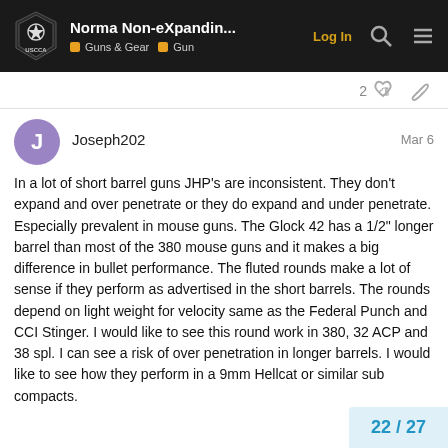Norma Non-eXpandin... | Guns & Gear | Gun | Log In
2 likes
Joseph202  Mar 6
In a lot of short barrel guns JHP’s are inconsistent. They don’t expand and over penetrate or they do expand and under penetrate. Especially prevalent in mouse guns. The Glock 42 has a 1/2" longer barrel than most of the 380 mouse guns and it makes a big difference in bullet performance. The fluted rounds make a lot of sense if they perform as advertised in the short barrels. The rounds depend on light weight for velocity same as the Federal Punch and CCI Stinger. I would like to see this round work in 380, 32 ACP and 38 spl. I can see a risk of over penetration in longer barrels. I would like to see how they perform in a 9mm Hellcat or similar sub compacts.
22 / 27